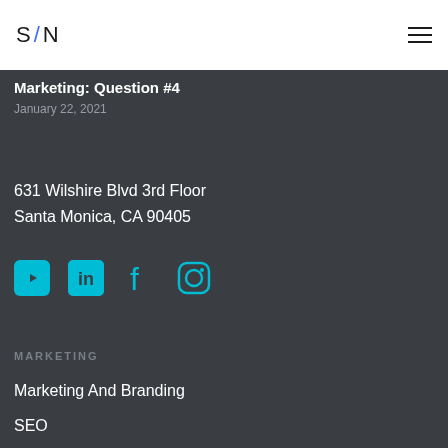S / N
Marketing: Question #4
January 22, 2021
631 Wilshire Blvd 3rd Floor
Santa Monica, CA 90405
[Figure (infographic): Social media icons: YouTube, LinkedIn, Facebook, Instagram in teal color]
MARKETING
Marketing And Branding
SEO
Social Media